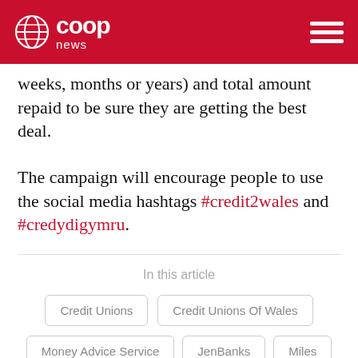co-op news
weeks, months or years) and total amount repaid to be sure they are getting the best deal.
The campaign will encourage people to use the social media hashtags #credit2wales and #credydigymru.
In this article
Credit Unions
Credit Unions Of Wales
Money Advice Service
JenBanks
Miles